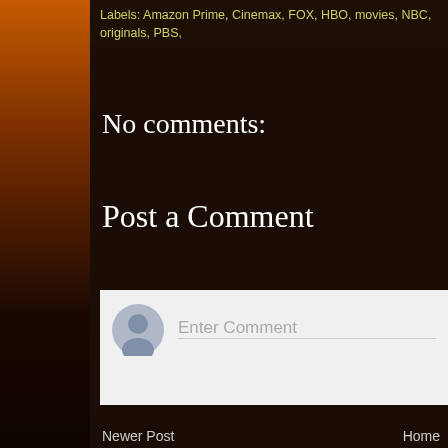Labels: Amazon Prime, Cinemax, FOX, HBO, movies, NBC, originals, PBS,
No comments:
Post a Comment
[Figure (screenshot): Comment input box with gray avatar icon and 'Enter Comment' placeholder text]
Newer Post
Home
Subscribe to: Post Comments (Atom)
Simple t
[Figure (photo): Dark image with warm orange glow at bottom, appears to show a weapon or object silhouette]